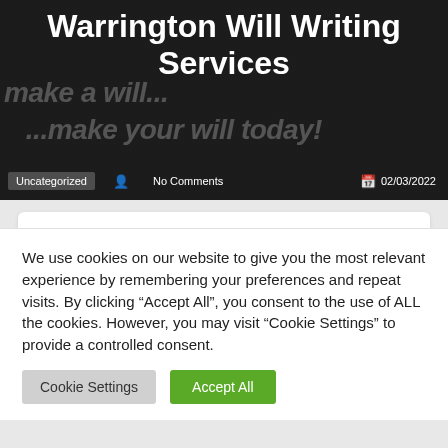Warrington Will Writing Services
Uncategorized   No Comments   02/03/2022
Home Visit Will Writing Services in Warrington
We use cookies on our website to give you the most relevant experience by remembering your preferences and repeat visits. By clicking “Accept All”, you consent to the use of ALL the cookies. However, you may visit "Cookie Settings" to provide a controlled consent.
Cookie Settings   Accept All